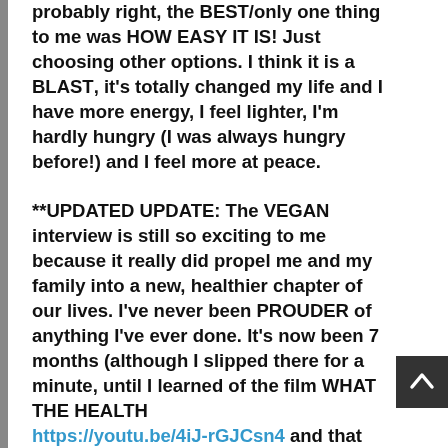probably right, the BEST/only one thing to me was HOW EASY IT IS! Just choosing other options. I think it is a BLAST, it's totally changed my life and I have more energy, I feel lighter, I'm hardly hungry (I was always hungry before!) and I feel more at peace.
**UPDATED UPDATE: The VEGAN interview is still so exciting to me because it really did propel me and my family into a new, healthier chapter of our lives. I've never been PROUDER of anything I've ever done. It's now been 7 months (although I slipped there for a minute, until I learned of the film WHAT THE HEALTH https://youtu.be/4iJ-rGJCsn4 and that put me and my family back on the right track, hardcore.)
As a spiritually minded person– I'd always felt the tug and desire to go Vegan. I tried vegetarian and pescatarian for many years, but to my amazement– going Vegan is MUCH easier! Vegetarian is still hard because they are probably not as strict and still...